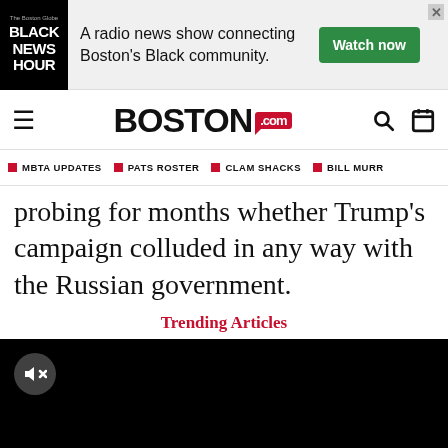[Figure (screenshot): Advertisement banner for Black News Hour radio show by The Boston Globe. Shows logo on black background, text 'A radio news show connecting Boston's Black community.' and a green 'Watch now' button.]
BOSTON.com navigation bar with hamburger menu, Boston.com logo, search icon, and calendar icon.
MBTA UPDATES | PATS ROSTER | CLAM SHACKS | BILL MURR
probing for months whether Trump's campaign colluded in any way with the Russian government.
Trending Articles
[Figure (screenshot): Black video player area with a muted/volume-off icon in the top-left corner.]